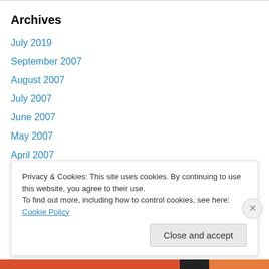Archives
July 2019
September 2007
August 2007
July 2007
June 2007
May 2007
April 2007
March 2007
February 2007
January 2007
Privacy & Cookies: This site uses cookies. By continuing to use this website, you agree to their use. To find out more, including how to control cookies, see here: Cookie Policy
Close and accept